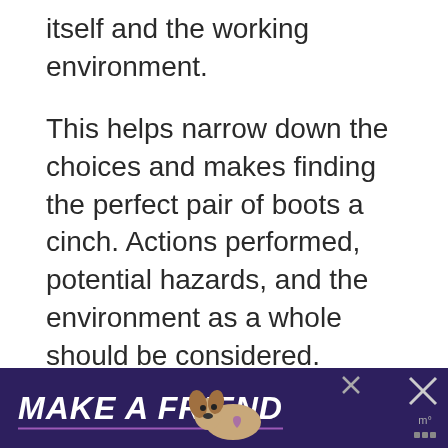itself and the working environment.
This helps narrow down the choices and makes finding the perfect pair of boots a cinch. Actions performed, potential hazards, and the environment as a whole should be considered.
[Figure (other): Light grey rectangular advertisement placeholder box]
[Figure (other): Advertisement banner with dark purple background showing 'MAKE A FRIEND' text in bold italic white, a dog photo, close buttons, and small icons on the right]